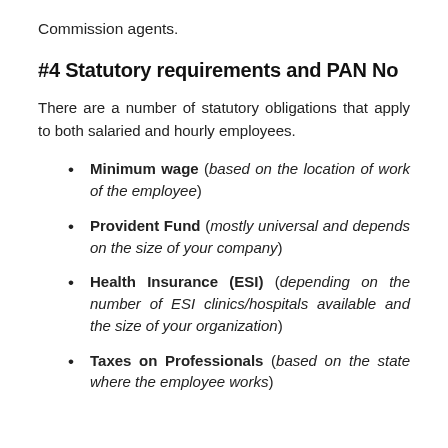Commission agents.
#4 Statutory requirements and PAN No
There are a number of statutory obligations that apply to both salaried and hourly employees.
Minimum wage (based on the location of work of the employee)
Provident Fund (mostly universal and depends on the size of your company)
Health Insurance (ESI) (depending on the number of ESI clinics/hospitals available and the size of your organization)
Taxes on Professionals (based on the state where the employee works)